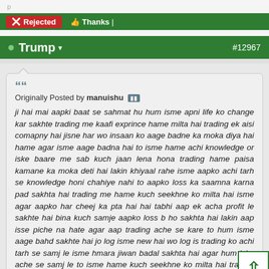Rejected | Thanks |
• Trump ▾ #12967
Originally Posted by manuishu
ji hai mai aapki baat se sahmat hu hum isme apni life ko change kar sakhte trading me kaafi exprince hame milta hai trading ek aisi comapny hai jisne har wo insaan ko aage badne ka moka diya hai hame agar isme aage badna hai to isme hame achi knowledge or iske baare me sab kuch jaan lena hona trading hame paisa kamane ka moka deti hai lakin khiyaal rahe isme aapko achi tarh se knowledge honi chahiye nahi to aapko loss ka saamna karna pad sakhta hai trading me hame kuch seekhne ko milta hai isme agar aapko har cheej ka pta hai hai tabhi aap ek acha profit le sakhte hai bina kuch samje aapko loss b ho sakhta hai lakin aap isse piche na hate agar aap trading ache se kare to hum isme aage bahd sakhte hai jo log isme new hai wo log is trading ko achi tarh se samj le isme hmara jiwan badal sakhta hai agar hum isko ache se samj le to isme hame kuch seekhne ko milta hai trading karke log aaj kaafi profot le chuke hai lakin agar wo log jinko trading ke